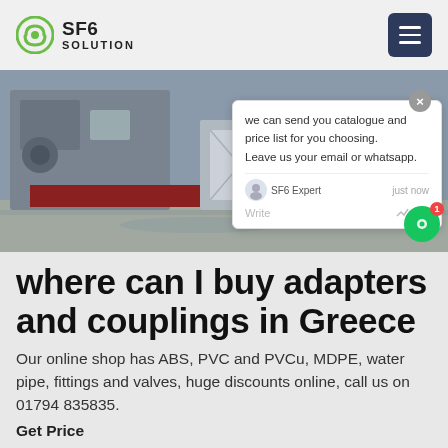SF6 SOLUTION
[Figure (photo): Industrial site photo showing workers in blue coveralls and hard hats near heavy equipment and a yellow truck on a snowy/wet ground]
where can I buy adapters and couplings in Greece
Our online shop has ABS, PVC and PVCu, MDPE, water pipe, fittings and valves, huge discounts online, call us on 01794 835835.
Get Price